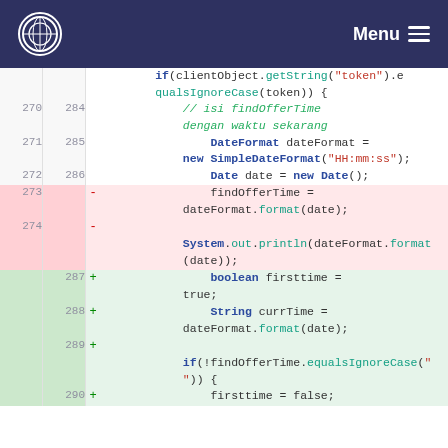Menu
[Figure (screenshot): Code diff view showing Java code changes. Lines 270-290 with old line numbers on left and new line numbers on right. Pink rows (lines 273-274) show removed code, green rows (lines 287-289) show added code. Code involves DateFormat, SimpleDateFormat, findOfferTime, boolean firsttime, String currTime, and if(!findOfferTime.equalsIgnoreCase) logic.]